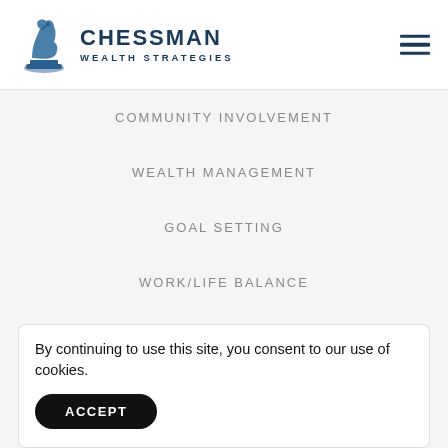[Figure (logo): Chessman Wealth Strategies logo with chess knight icon and brand name]
COMMUNITY INVOLVEMENT
WEALTH MANAGEMENT
GOAL SETTING
WORK/LIFE BALANCE
LIFE DEFINED
By continuing to use this site, you consent to our use of cookies.